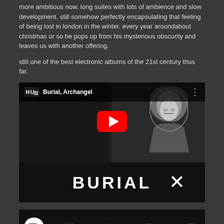more ambitious now. long suites with lots of ambience and slow development. still somehow perfectly encapsulating that feeling of being lost in london in the winter. every year aroundabout christmas or so he pops up from his mysterious obscurity and leaves us with another offering.

still one of the best electronic albums of the 21st century thus far.
[Figure (screenshot): YouTube video embed for 'Burial, Archangel' showing a black and white sketch of a hooded figure, with YouTube play button, channel logo, and Burial album artwork below]
[Figure (screenshot): YouTube video embed thumbnail for 'Burial's Untrue: The making of a ma...' with Resident Advisor channel logo on dark background with waveform]